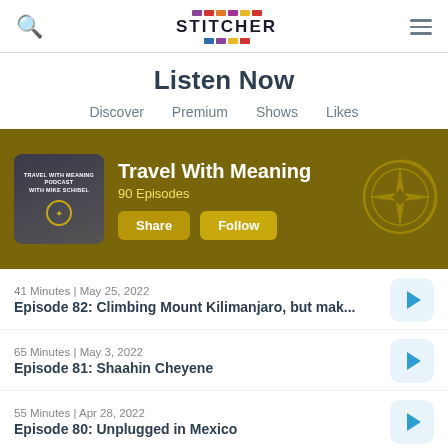Stitcher — Listen Now
Listen Now
Discover
Premium
Shows
Likes
[Figure (screenshot): Travel With Meaning Podcast with Mike Schibel banner on Stitcher. Shows podcast artwork, title 'Travel With Meaning', '90 Episodes', Share and Follow buttons, decorative compass seal logo.]
41 Minutes | May 25, 2022
Episode 82: Climbing Mount Kilimanjaro, but mak...
65 Minutes | May 3, 2022
Episode 81: Shaahin Cheyene
55 Minutes | Apr 28, 2022
Episode 80: Unplugged in Mexico
63 Minutes | Apr 5, 2022